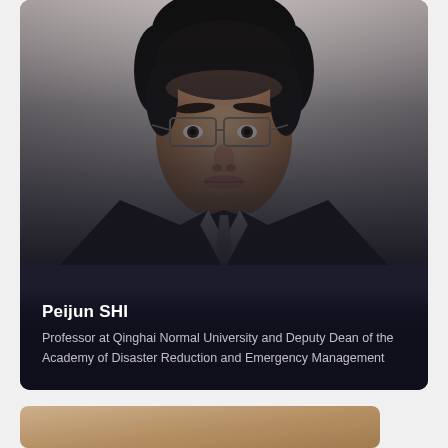[Figure (photo): Professional headshot of Peijun SHI, a man wearing glasses and a dark suit with a light shirt and tie, against a light grey background. The photo is displayed in a dark-bordered card with text overlay at the bottom.]
Peijun SHI
Professor at Qinghai Normal University and Deputy Dean of the Academy of Disaster Reduction and Emergency Management
[Figure (photo): Partial view of another profile card at the bottom of the page, showing a warm brown/tan colored image, partially cut off.]